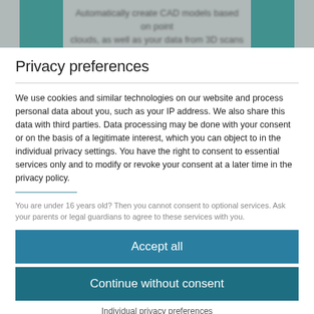[Figure (screenshot): Top banner blurred background with two teal rectangles on left and right sides and blurred text in center reading 'Automatically create CAD models based on point clouds, as well as your data from 3D scans or from CAD...']
Privacy preferences
We use cookies and similar technologies on our website and process personal data about you, such as your IP address. We also share this data with third parties. Data processing may be done with your consent or on the basis of a legitimate interest, which you can object to in the individual privacy settings. You have the right to consent to essential services only and to modify or revoke your consent at a later time in the privacy policy.
You are under 16 years old? Then you cannot consent to optional services. Ask your parents or legal guardians to agree to these services with you.
Accept all
Continue without consent
Individual privacy preferences
Privacy policy  •  Imprint
Cookie Consent with Real Cookie Banner